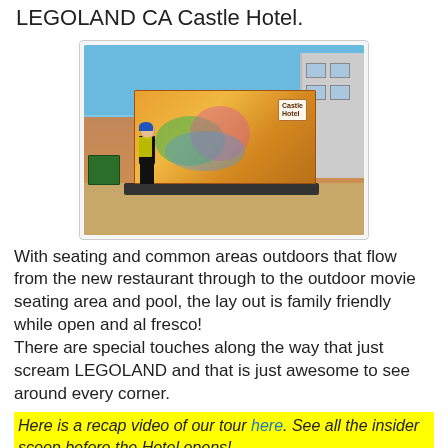LEGOLAND CA Castle Hotel.
[Figure (photo): A construction worker in a yellow vest and blue hard hat stands next to a large orange sign/rendering board showing the Castle Hotel design, with a partially constructed building visible in the background.]
With seating and common areas outdoors that flow from the new restaurant through to the outdoor movie seating area and pool, the lay out is family friendly while open and al fresco!
There are special touches along the way that just scream LEGOLAND and that is just awesome to see around every corner.
Here is a recap video of our tour here. See all the insider scoop before the Hotel opens!